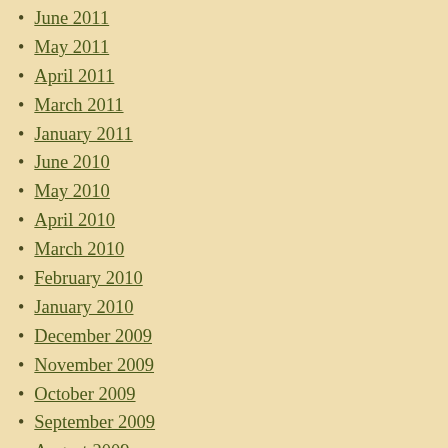June 2011
May 2011
April 2011
March 2011
January 2011
June 2010
May 2010
April 2010
March 2010
February 2010
January 2010
December 2009
November 2009
October 2009
September 2009
August 2009
July 2009
June 2009
May 2009
April 2009
March 2009